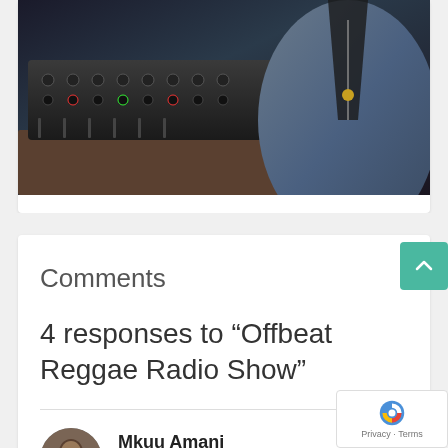[Figure (photo): Photo of a person in a blue hoodie sitting in front of a DJ mixer/audio equipment in a dimly lit studio setting.]
Comments
4 responses to “Offbeat Reggae Radio Show”
Mkuu Amani
4 months ago